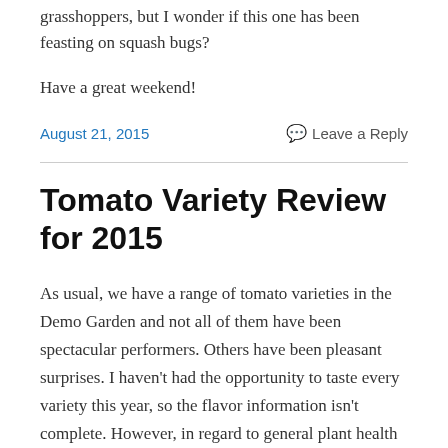grasshoppers, but I wonder if this one has been feasting on squash bugs?
Have a great weekend!
August 21, 2015    Leave a Reply
Tomato Variety Review for 2015
As usual, we have a range of tomato varieties in the Demo Garden and not all of them have been spectacular performers. Others have been pleasant surprises. I haven't had the opportunity to taste every variety this year, so the flavor information isn't complete. However, in regard to general plant health and yield I feel like we have